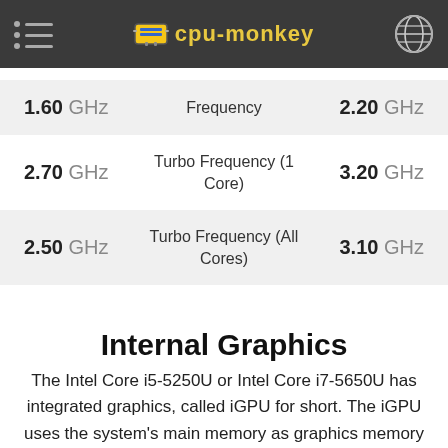cpu-monkey
| Value 1 | Spec | Value 2 |
| --- | --- | --- |
| 1.60 GHz | Frequency | 2.20 GHz |
| 2.70 GHz | Turbo Frequency (1 Core) | 3.20 GHz |
| 2.50 GHz | Turbo Frequency (All Cores) | 3.10 GHz |
Internal Graphics
The Intel Core i5-5250U or Intel Core i7-5650U has integrated graphics, called iGPU for short. The iGPU uses the system's main memory as graphics memory and sits on the processor's